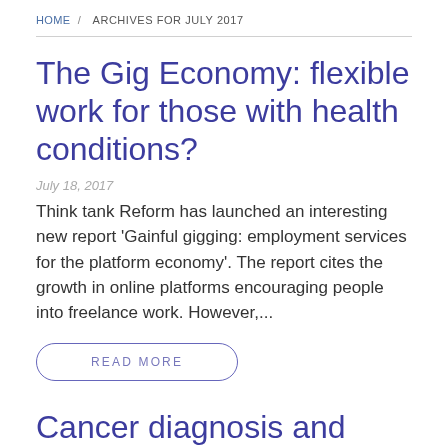HOME / ARCHIVES FOR JULY 2017
The Gig Economy: flexible work for those with health conditions?
July 18, 2017
Think tank Reform has launched an interesting new report 'Gainful gigging: employment services for the platform economy'.  The report cites the growth in online platforms encouraging people into freelance work.  However,...
READ MORE
Cancer diagnosis and employer